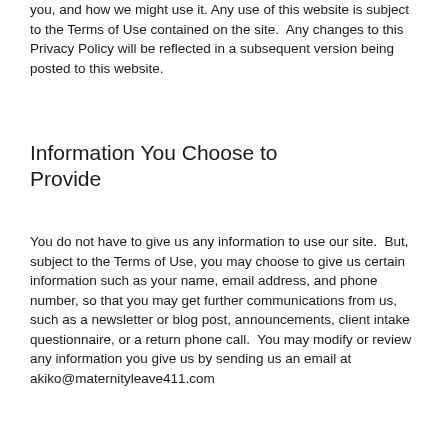you, and how we might use it. Any use of this website is subject to the Terms of Use contained on the site.  Any changes to this Privacy Policy will be reflected in a subsequent version being posted to this website.
Information You Choose to Provide
You do not have to give us any information to use our site.  But, subject to the Terms of Use, you may choose to give us certain information such as your name, email address, and phone number, so that you may get further communications from us, such as a newsletter or blog post, announcements, client intake questionnaire, or a return phone call.  You may modify or review any information you give us by sending us an email at akiko@maternityleave411.com